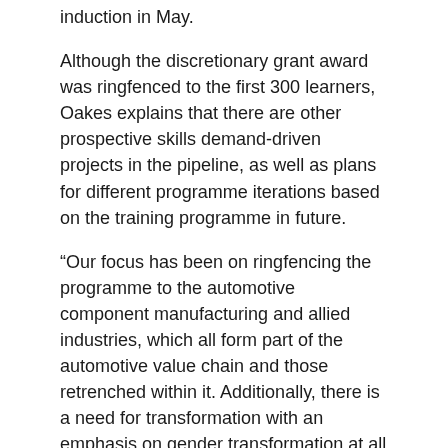induction in May.
Although the discretionary grant award was ringfenced to the first 300 learners, Oakes explains that there are other prospective skills demand-driven projects in the pipeline, as well as plans for different programme iterations based on the training programme in future.
“Our focus has been on ringfencing the programme to the automotive component manufacturing and allied industries, which all form part of the automotive value chain and those retrenched within it. Additionally, there is a need for transformation with an emphasis on gender transformation at all occupational levels,” concluded Oakes.
Read the article in Automotive Refinisher – https://www.gate5.co.za/read/115284/qv/95678767/150673
Company: NAACAM